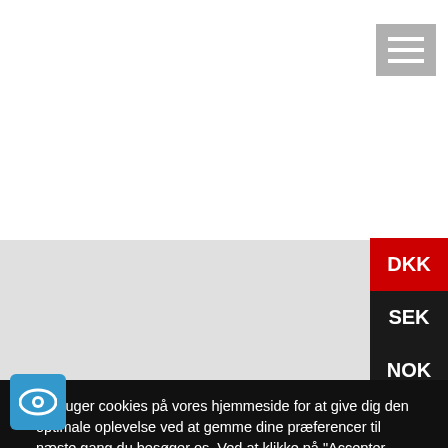Tilføj til kurv
[Figure (screenshot): Hamburger menu icon (three white horizontal lines on grey background)]
Social
[Figure (screenshot): Social media icons: Facebook, YouTube/Play, Instagram on grey background]
DKK
SEK
NOK
Vi bruger cookies på vores hjemmeside for at give dig den optimale oplevelse ved at gemme dine præferencer til næste gang du besøger os. Ved at klikke på "Accepter alle" giver du tilladelse til at ALLE cookies benyttes. Du kan også klikke på "Cookie indstillinger" for begrænset tilladelse.
Cookie indstillinger
Accepter alle